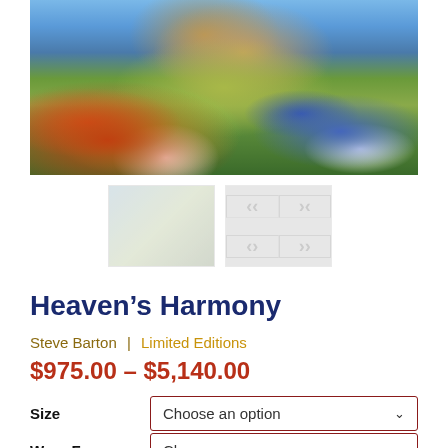[Figure (illustration): Painting of a garden patio scene with Adirondack chairs, tropical flowers, lush green foliage, and a pool or water feature in the background. Colorful impressionist style artwork.]
[Figure (photo): Two thumbnail images of the artwork: one showing a close-up detail, one showing a tiled/grid preview of the painting.]
Heaven’s Harmony
Steve Barton | Limited Editions
$975.00 – $5,140.00
Size   Choose an option
Wrap Frame   Choose an option